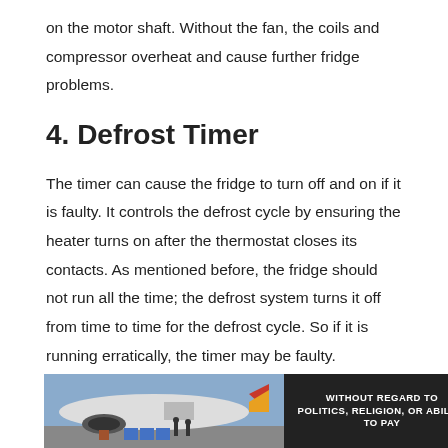on the motor shaft. Without the fan, the coils and compressor overheat and cause further fridge problems.
4. Defrost Timer
The timer can cause the fridge to turn off and on if it is faulty. It controls the defrost cycle by ensuring the heater turns on after the thermostat closes its contacts. As mentioned before, the fridge should not run all the time; the defrost system turns it off from time to time for the defrost cycle. So if it is running erratically, the timer may be faulty.
You may need professional help to check and replace the defrost timer if it is defective. Some timers are complex and you may not be able to check them yourself. But if the fridge timer is not the complex type, try replacing it yourself to save costs:
[Figure (photo): Advertisement banner showing an airplane being loaded with cargo, alongside a dark panel with text 'WITHOUT REGARD TO POLITICS, RELIGION, OR ABILITY TO PAY']